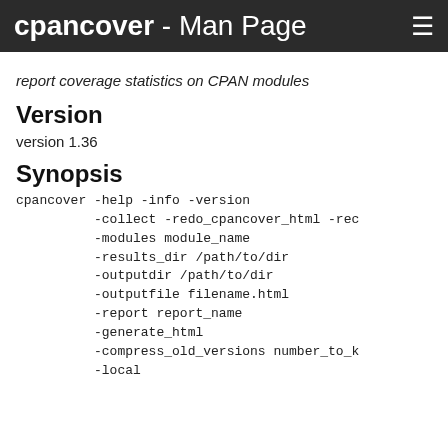cpancover - Man Page
report coverage statistics on CPAN modules
Version
version 1.36
Synopsis
cpancover -help -info -version
          -collect -redo_cpancover_html -rec
          -modules module_name
          -results_dir /path/to/dir
          -outputdir /path/to/dir
          -outputfile filename.html
          -report report_name
          -generate_html
          -compress_old_versions number_to_k
          -local